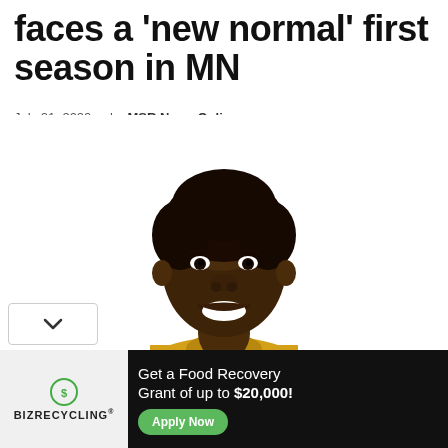faces a 'new normal' first season in MN
July 21, 2020 - by MSR News Online
[Figure (photo): Portrait photo of a smiling Black woman in a gold/yellow athletic jersey, shoulders and head visible, white background]
[Figure (infographic): Advertisement banner: BizRecycling logo on left (gray background), dark background on right with text 'Get a Food Recovery Grant of up to $20,000!' and green 'Apply Now' button, with X close button]